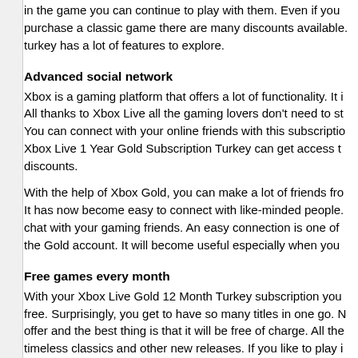in the game you can continue to play with them. Even if you purchase a classic game there are many discounts available. turkey has a lot of features to explore.
Advanced social network
Xbox is a gaming platform that offers a lot of functionality. It is All thanks to Xbox Live all the gaming lovers don't need to st You can connect with your online friends with this subscriptio Xbox Live 1 Year Gold Subscription Turkey can get access t discounts.
With the help of Xbox Gold, you can make a lot of friends fro It has now become easy to connect with like-minded people. chat with your gaming friends. An easy connection is one of the Gold account. It will become useful especially when you
Free games every month
With your Xbox Live Gold 12 Month Turkey subscription you free. Surprisingly, you get to have so many titles in one go. N offer and the best thing is that it will be free of charge. All the timeless classics and other new releases. If you like to play i all.
Whether you want to become a master chef or use your skill everything will be there. Get a good experience from a wide months. The Xbox games catalog is free and you can avail i
Attractive discounts
If you want to have an Xbox subscription here is your chanc Gold, the high prices are never going to be a problem. There